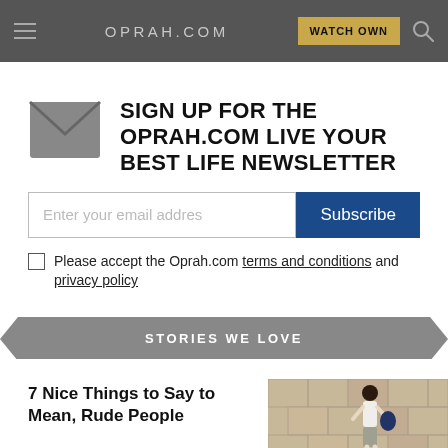OPRAH.COM | WATCH OWN
SIGN UP FOR THE OPRAH.COM LIVE YOUR BEST LIFE NEWSLETTER
Enter your email address  Subscribe
Please accept the Oprah.com terms and conditions and privacy policy
STORIES WE LOVE
7 Nice Things to Say to Mean, Rude People
[Figure (photo): Woman walking along a stone wall in a white top and grey pants, carrying a dark bag]